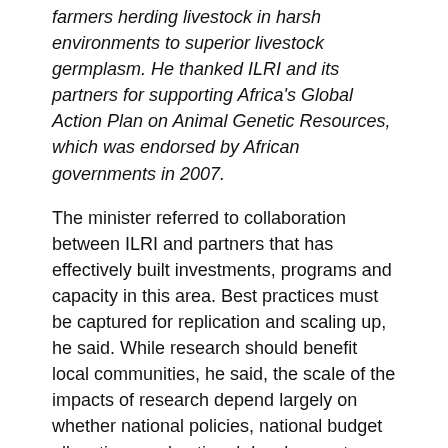farmers herding livestock in harsh environments to superior livestock germplasm. He thanked ILRI and its partners for supporting Africa's Global Action Plan on Animal Genetic Resources, which was endorsed by African governments in 2007.
The minister referred to collaboration between ILRI and partners that has effectively built investments, programs and capacity in this area. Best practices must be captured for replication and scaling up, he said. While research should benefit local communities, he said, the scale of the impacts of research depend largely on whether national policies, national budget allocations and national development plans reflect the importance of better use of native livestock resources and allocate funds for developing national capacity in this area.
The minister encouraged the workshop participants to engage actively with those developing a second State of the World's Animal Genetic Resources report, due to be published by the United Nations Food and Agriculture